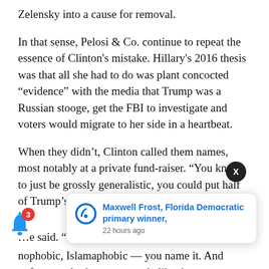Zelensky into a cause for removal.
In that sense, Pelosi & Co. continue to repeat the essence of Clinton's mistake. Hillary's 2016 thesis was that all she had to do was plant concocted “evidence” with the media that Trump was a Russian stooge, get the FBI to investigate and voters would migrate to her side in a heartbeat.
When they didn’t, Clinton called them names, most notably at a private fund-raiser. “You know, to just be grossly generalistic, you could put half of Trump’s supporters into what I c… he said. “T… nophobic, Islamaphobic — you name it. And unfortunately there are people like that.
[Figure (screenshot): Notification toast popup from 'updatem' app showing headline: Maxwell Frost, Florida Democratic primary winner, 22 hours ago]
[Figure (infographic): Notification bell icon with red badge showing count 3, and a dark close button X]